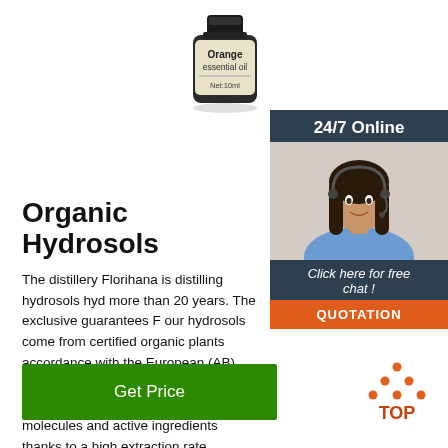[Figure (photo): Orange essential oil bottle (10ml) with dark cap and cream label showing 'Orange essential oil Net:10ml']
[Figure (infographic): 24/7 Online chat widget with dark background, female agent photo with headset, 'Click here for free chat!' text, and orange QUOTATION button]
Organic Hydrosols
The distillery Florihana is distilling hydrosols hy... more than 20 years. The exclusive guarantees F... our hydrosols come from certified organic plants... accordance with the European (AB), Japanese (J... American (USDA) certifications. - A maximum le... molecules and active ingredients thanks to a high extraction rate (Florihana process).
[Figure (infographic): Green 'Get Price' button]
[Figure (infographic): Orange dots triangle logo with 'TOP' text below]